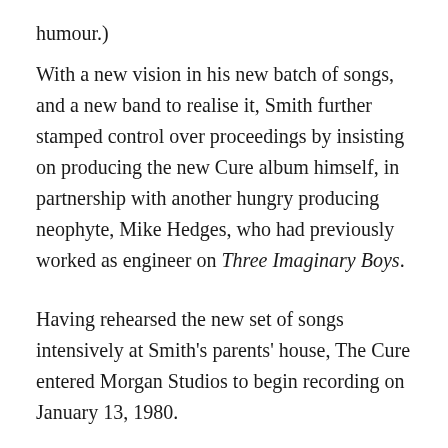humour.)
With a new vision in his new batch of songs, and a new band to realise it, Smith further stamped control over proceedings by insisting on producing the new Cure album himself, in partnership with another hungry producing neophyte, Mike Hedges, who had previously worked as engineer on Three Imaginary Boys.
Having rehearsed the new set of songs intensively at Smith's parents' house, The Cure entered Morgan Studios to begin recording on January 13, 1980.